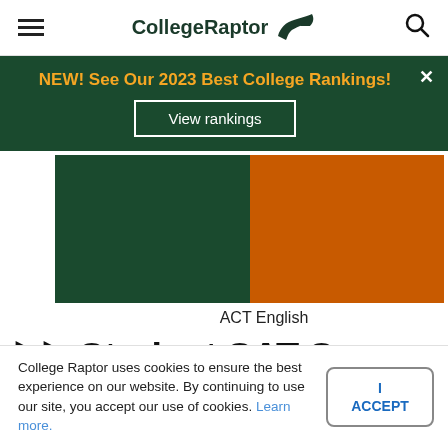CollegeRaptor
[Figure (infographic): Dark green banner with yellow-orange bold text 'NEW! See Our 2023 Best College Rankings!' and a 'View rankings' button with white border, close X in top right.]
[Figure (bar-chart): Two bars side by side: dark green bar and orange bar representing ACT English scores. Labels not fully visible.]
Student SAT Scores
College Raptor uses cookies to ensure the best experience on our website. By continuing to use our site, you accept our use of cookies. Learn more.